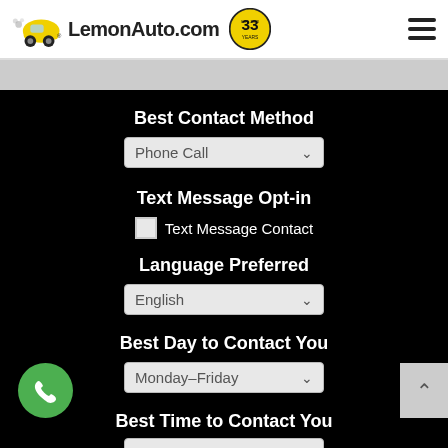LemonAuto.com — 33 Years
Best Contact Method
Phone Call (dropdown)
Text Message Opt-in
Text Message Contact (checkbox)
Language Preferred
English (dropdown)
Best Day to Contact You
Monday-Friday (dropdown)
Best Time to Contact You